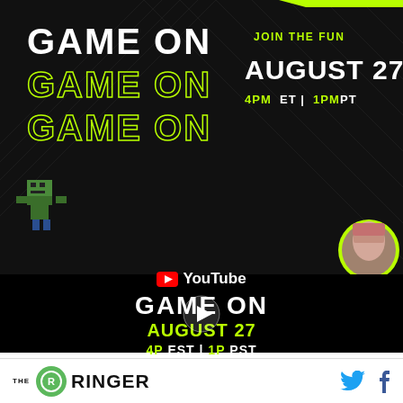[Figure (screenshot): Game On event promotional banner with dark background, diagonal texture, 'GAME ON' text in white and green neon outline, event info 'JOIN THE FUN AUGUST 27 4PM ET | 1PM PT', Minecraft zombie character, streamer avatar in green circle]
[Figure (screenshot): YouTube embedded video player with black background showing 'GAME ON' title, 'AUGUST 27' date, '4P EST | 1P PST' time info, and YouTube logo, with play button overlay]
[Figure (logo): The Ringer logo with green circle R icon and social media icons (Twitter bird and Facebook f) on white footer bar]